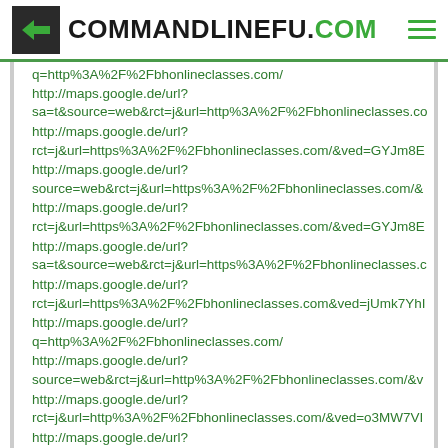COMMANDLINEFU.COM
q=http%3A%2F%2Fbhonlineclasses.com/
http://maps.google.de/url?
sa=t&source=web&rct=j&url=http%3A%2F%2Fbhonlineclasses.co
http://maps.google.de/url?
rct=j&url=https%3A%2F%2Fbhonlineclasses.com/&ved=GYJm8E
http://maps.google.de/url?
source=web&rct=j&url=https%3A%2F%2Fbhonlineclasses.com/&
http://maps.google.de/url?
rct=j&url=https%3A%2F%2Fbhonlineclasses.com/&ved=GYJm8E
http://maps.google.de/url?
sa=t&source=web&rct=j&url=https%3A%2F%2Fbhonlineclasses.c
http://maps.google.de/url?
rct=j&url=https%3A%2F%2Fbhonlineclasses.com&ved=jUmk7YhI
http://maps.google.de/url?
q=http%3A%2F%2Fbhonlineclasses.com/
http://maps.google.de/url?
source=web&rct=j&url=http%3A%2F%2Fbhonlineclasses.com/&v
http://maps.google.de/url?
rct=j&url=http%3A%2F%2Fbhonlineclasses.com/&ved=o3MW7VI
http://maps.google.de/url?
sa=t&source=web&rct=j&url=https%3A%2F%2Fbhonlineclasses.c
http://maps.google.de/url?